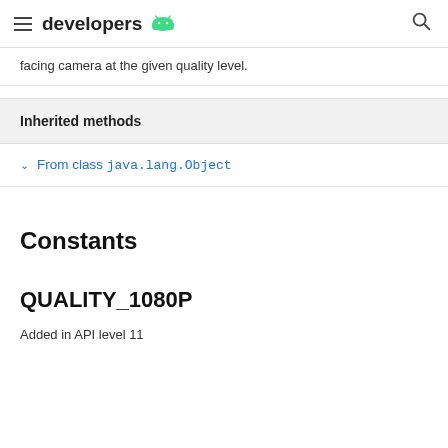developers
facing camera at the given quality level.
Inherited methods
From class java.lang.Object
Constants
QUALITY_1080P
Added in API level 11